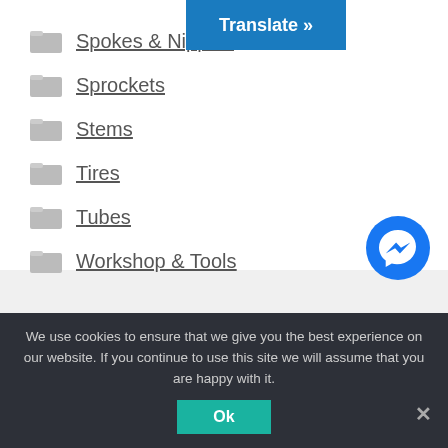[Figure (other): Blue 'Translate »' button overlay at top]
Spokes & Nipples
Sprockets
Stems
Tires
Tubes
Workshop & Tools
[Figure (other): Facebook Messenger blue circle chat bubble icon]
We use cookies to ensure that we give you the best experience on our website. If you continue to use this site we will assume that you are happy with it.
Ok